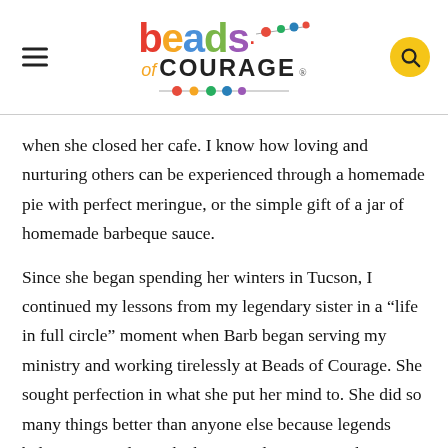Beads of Courage
when she closed her cafe. I know how loving and nurturing others can be experienced through a homemade pie with perfect meringue, or the simple gift of a jar of homemade barbeque sauce.
Since she began spending her winters in Tucson, I continued my lessons from my legendary sister in a “life in full circle” moment when Barb began serving my ministry and working tirelessly at Beads of Courage. She sought perfection in what she put her mind to. She did so many things better than anyone else because legends believe it can always be better, and sometimes that means you make